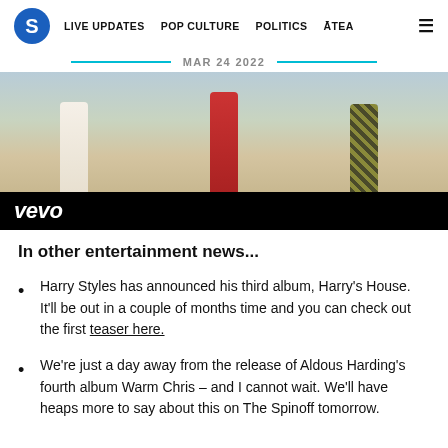S | LIVE UPDATES | POP CULTURE | POLITICS | ĀTEA
MAR 24 2022
[Figure (photo): Video thumbnail showing three figures walking on a beach in white, red, and patterned outfits, with a Vevo logo bar at the bottom]
In other entertainment news...
Harry Styles has announced his third album, Harry's House. It'll be out in a couple of months time and you can check out the first teaser here.
We're just a day away from the release of Aldous Harding's fourth album Warm Chris – and I cannot wait. We'll have heaps more to say about this on The Spinoff tomorrow.